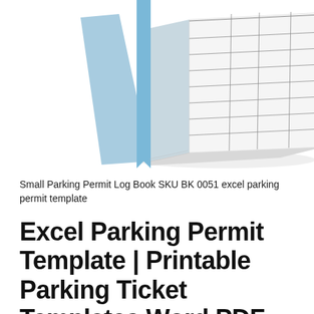[Figure (illustration): A 3D perspective illustration of a small parking permit log book with blue bookmark ribbon and a visible grid/table page showing ruled lines and columns.]
Small Parking Permit Log Book SKU BK 0051 excel parking permit template
Excel Parking Permit Template | Printable Parking Ticket Templates Word PDF Format